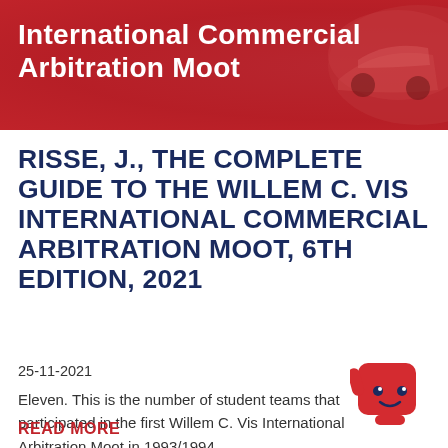[Figure (illustration): Red banner with white bold text reading 'International Commercial Arbitration Moot' and a decorative car image on the right side]
RISSE, J., THE COMPLETE GUIDE TO THE WILLEM C. VIS INTERNATIONAL COMMERCIAL ARBITRATION MOOT, 6TH EDITION, 2021
25-11-2021
Eleven. This is the number of student teams that participated in the first Willem C. Vis International Arbitration Moot in 1993/1994.
READ MORE